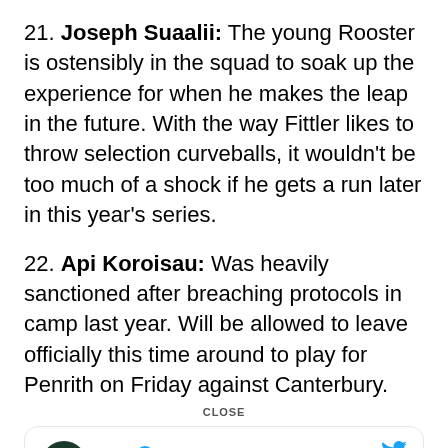21. Joseph Suaalii: The young Rooster is ostensibly in the squad to soak up the experience for when he makes the leap in the future. With the way Fittler likes to throw selection curveballs, it wouldn't be too much of a shock if he gets a run later in this year's series.
22. Api Koroisau: Was heavily sanctioned after breaching protocols in camp last year. Will be allowed to leave officially this time around to play for Penrith on Friday against Canterbury.
CLOSE
[Figure (screenshot): Twitter/X card showing NRL verified account with NRL logo avatar and @NRL handle with Follow link]